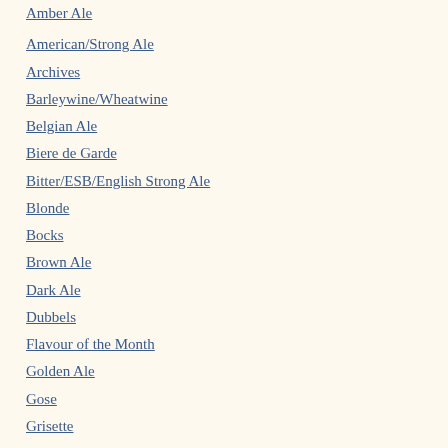Amber Ale
American/Strong Ale
Archives
Barleywine/Wheatwine
Belgian Ale
Biere de Garde
Bitter/ESB/English Strong Ale
Blonde
Bocks
Brown Ale
Dark Ale
Dubbels
Flavour of the Month
Golden Ale
Gose
Grisette
Gueuze/Lambic
IPA's
Kolsch